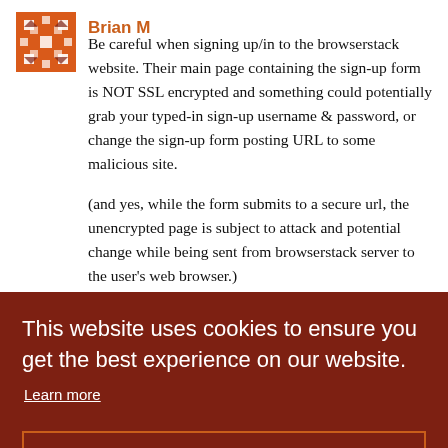Brian M
Be careful when signing up/in to the browserstack website. Their main page containing the sign-up form is NOT SSL encrypted and something could potentially grab your typed-in sign-up username & password, or change the sign-up form posting URL to some malicious site.

(and yes, while the form submits to a secure url, the unencrypted page is subject to attack and potential change while being sent from browserstack server to the user's web browser.)
link or erstack
This website uses cookies to ensure you get the best experience on our website.
Learn more
Got it!
I highly recommend FluentAutomation. IMO it has a great